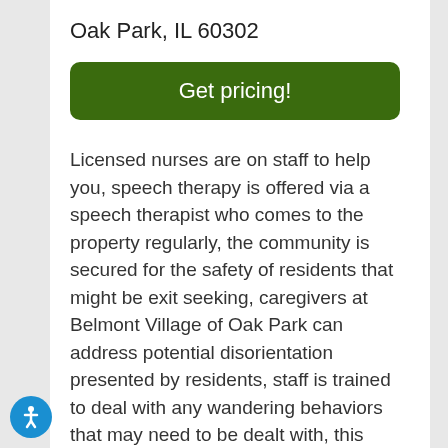Oak Park, IL 60302
[Figure (other): Green 'Get pricing!' call-to-action button]
Licensed nurses are on staff to help you, speech therapy is offered via a speech therapist who comes to the property regularly, the community is secured for the safety of residents that might be exit seeking, caregivers at Belmont Village of Oak Park can address potential disorientation presented by residents, staff is trained to deal with any wandering behaviors that may need to be dealt with, this property administers patient medications, and Belmont Village of Oak Park is close to major bus lines.
[Figure (illustration): Accessibility icon button (blue circle with white person/wheelchair figure)]